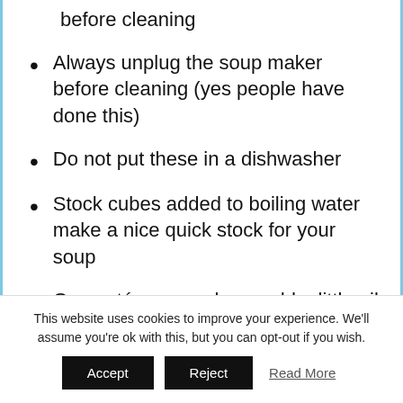before cleaning
Always unplug the soup maker before cleaning (yes people have done this)
Do not put these in a dishwasher
Stock cubes added to boiling water make a nice quick stock for your soup
On sauté soup makers, add a little oil for this process to prevent burning
This website uses cookies to improve your experience. We'll assume you're ok with this, but you can opt-out if you wish.